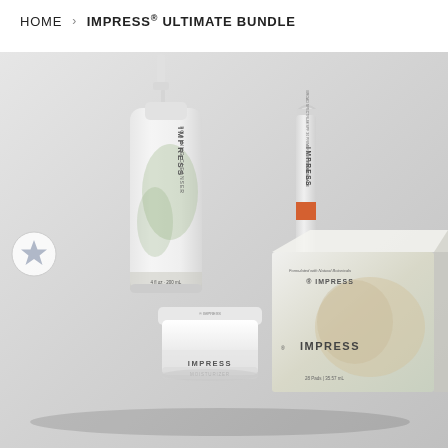HOME › IMPRESS® ULTIMATE BUNDLE
[Figure (photo): Product bundle photo showing four Impress skincare products on a light gray background: an Impress Foaming Cleanser pump bottle (left), an Impress Primeshade SPF 30 Primer Sunscreen tube (center), an Impress Moisturizer jar (bottom center), and an Impress boxed product set (right). A circular star/favorite icon appears on the left edge.]